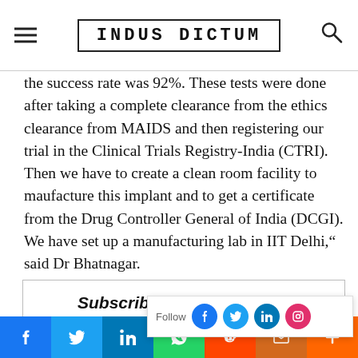INDUS DICTUM
the success rate was 92%. These tests were done after taking a complete clearance from the ethics clearance from MAIDS and then registering our trial in the Clinical Trials Registry-India (CTRI). Then we have to create a clean room facility to maufacture this implant and to get a certificate from the Drug Controller General of India (DCGI). We have set up a manufacturing lab in IIT Delhi,” said Dr Bhatnagar.
Subscribe to Indus Dictum
Receive a briefing about the latest news & feature articles.
No spam, we promise!